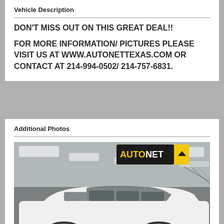Vehicle Description
DON'T MISS OUT ON THIS GREAT DEAL!!

FOR MORE INFORMATION/ PICTURES PLEASE VISIT US AT WWW.AUTONETTEXAS.COM OR CONTACT AT 214-994-0502/ 214-757-6831.
Additional Photos
[Figure (photo): Interior showroom photo of a white SUV parked inside a dealership with AutoNet branding sign visible overhead]